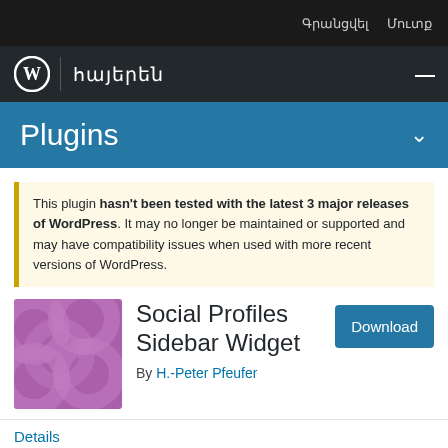Գրանցվել Մուտք
հայերեն
Plugins
This plugin hasn't been tested with the latest 3 major releases of WordPress. It may no longer be maintained or supported and may have compatibility issues when used with more recent versions of WordPress.
[Figure (illustration): Purple plugin icon with overlapping circle patterns]
Social Profiles Sidebar Widget
By H.-Peter Pfeufer
Download
Details